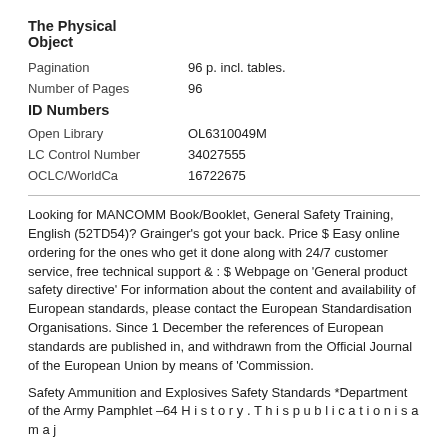The Physical Object
Pagination    96 p. incl. tables.
Number of Pages    96
ID Numbers
Open Library    OL6310049M
LC Control Number    34027555
OCLC/WorldCa    16722675
Looking for MANCOMM Book/Booklet, General Safety Training, English (52TD54)? Grainger’s got your back. Price $ Easy online ordering for the ones who get it done along with 24/7 customer service, free technical support & : $ Webpage on ‘General product safety directive’ For information about the content and availability of European standards, please contact the European Standardisation Organisations. Since 1 December the references of European standards are published in, and withdrawn from the Official Journal of the European Union by means of ‘Commission.
Safety Ammunition and Explosives Safety Standards *Department of the Army Pamphlet –64 H i s t o r y . T h i s p u b l i c a t i o n i s a m a j